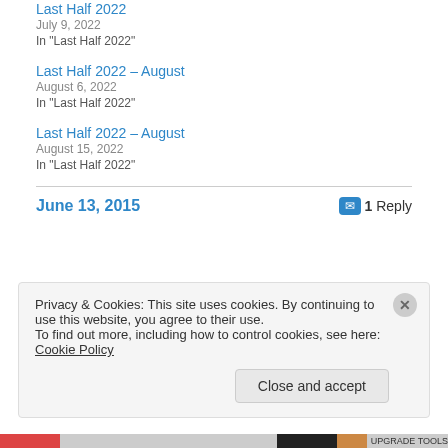Last Half 2022
July 9, 2022
In "Last Half 2022"
Last Half 2022 – August
August 6, 2022
In "Last Half 2022"
Last Half 2022 – August
August 15, 2022
In "Last Half 2022"
June 13, 2015
1 Reply
Privacy & Cookies: This site uses cookies. By continuing to use this website, you agree to their use.
To find out more, including how to control cookies, see here: Cookie Policy
Close and accept